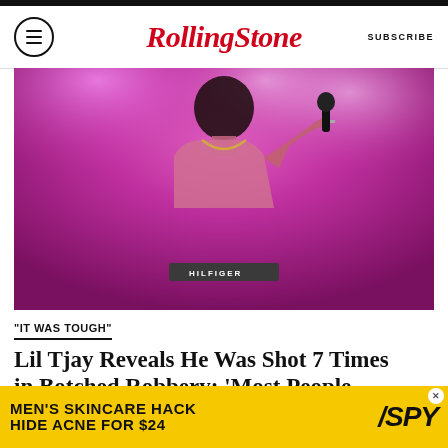Rolling Stone | SUBSCRIBE
[Figure (photo): Lil Tjay performing shirtless on stage under pink/magenta stage lighting, holding a microphone, wearing a gold chain and Tommy Hilfiger waistband]
"IT WAS TOUGH"
Lil Tjay Reveals He Was Shot 7 Times in Botched Robbery: ‘Most People Don’t Survive It’
BY DANIEL KREPS
[Figure (screenshot): Advertisement banner: MEN'S SKINCARE HACK HIDE ACNE FOR $24 / SPY logo on yellow background]